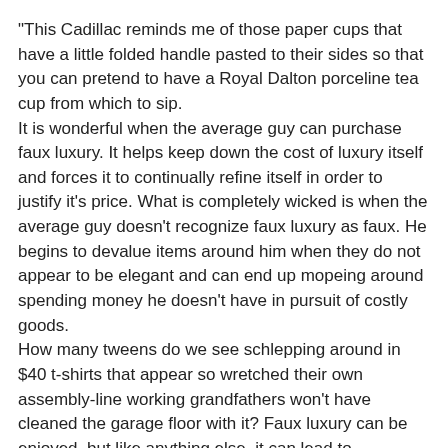"This Cadillac reminds me of those paper cups that have a little folded handle pasted to their sides so that you can pretend to have a Royal Dalton porceline tea cup from which to sip.
It is wonderful when the average guy can purchase faux luxury. It helps keep down the cost of luxury itself and forces it to continually refine itself in order to justify it's price. What is completely wicked is when the average guy doesn't recognize faux luxury as faux. He begins to devalue items around him when they do not appear to be elegant and can end up mopeing around spending money he doesn't have in pursuit of costly goods.
How many tweens do we see schlepping around in $40 t-shirts that appear so wretched their own assembly-line working grandfathers won't have cleaned the garage floor with it? Faux luxury can be enjoyed, but like anything else, it can lead to McMansions, $30,000 Hondas, $300 Levis, bankrupsy and striking public employees with salaries over $80,000."